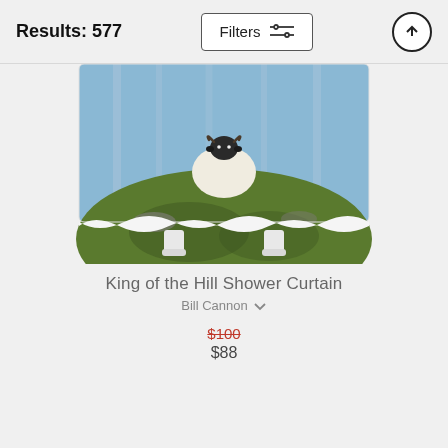Results: 577
[Figure (screenshot): Filters button with sliders icon]
[Figure (screenshot): Upload/up arrow button in circle]
[Figure (photo): Shower curtain product mockup showing a sheep standing on top of a grassy hill with blue sky background, displayed on a white curtain with stand legs]
King of the Hill Shower Curtain
Bill Cannon
$100
$88